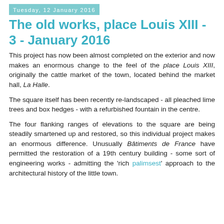Tuesday, 12 January 2016
The old works, place Louis XIII - 3 - January 2016
This project has now been almost completed on the exterior and now makes an enormous change to the feel of the place Louis XIII, originally the cattle market of the town, located behind the market hall, La Halle.
The square itself has been recently re-landscaped - all pleached lime trees and box hedges - with a refurbished fountain in the centre.
The four flanking ranges of elevations to the square are being steadily smartened up and restored, so this individual project makes an enormous difference. Unusually Bâtiments de France have permitted the restoration of a 19th century building - some sort of engineering works - admitting the 'rich palimsest' approach to the architectural history of the little town.